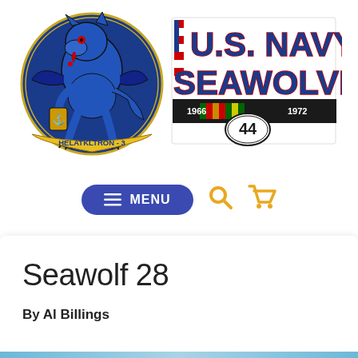[Figure (logo): Header with HELATKLTRON-3 squadron patch (blue wolf/werewolf creature in circle) on the left, and U.S. Navy Seawolves logo on the right with Vietnam ribbon bar, dates 1966-1972 and number 44]
[Figure (screenshot): Navigation bar with dark blue MENU button (hamburger icon), yellow search icon, and yellow shopping cart icon]
Seawolf 28
By Al Billings